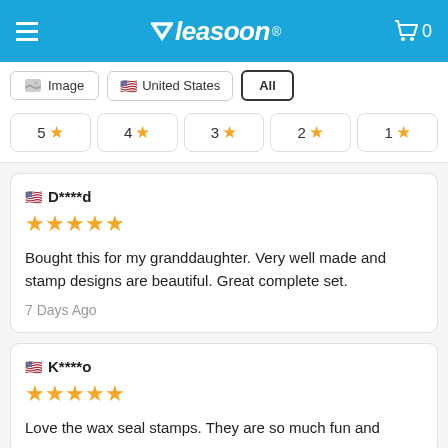Measoon®
Image | United States | All
5 ★  4 ★  3 ★  2 ★  1 ★
D****d
★★★★★
Bought this for my granddaughter. Very well made and stamp designs are beautiful. Great complete set.
7 Days Ago
K****o
★★★★★
Love the wax seal stamps. They are so much fun and